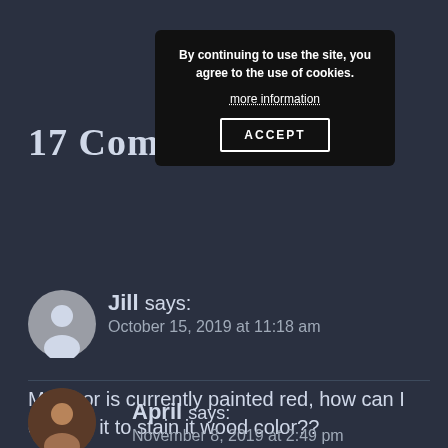[Figure (other): Cookie consent popup overlay with text 'By continuing to use the site, you agree to the use of cookies.' with a 'more information' link and an ACCEPT button]
17 Comments
Jill says:
October 15, 2019 at 11:18 am
My door is currently painted red, how can I change it to stain it wood color??
Reply
April says:
November 8, 2019 at 2:49 pm